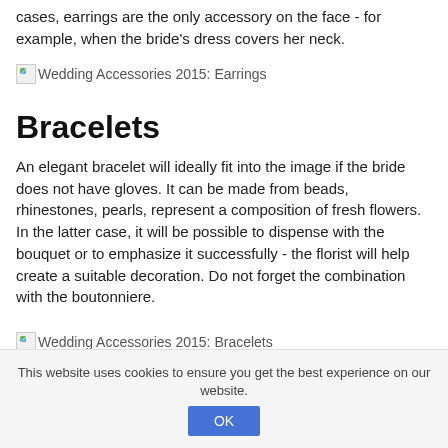cases, earrings are the only accessory on the face - for example, when the bride's dress covers her neck.
[Figure (photo): Broken image placeholder for 'Wedding Accessories 2015: Earrings']
Bracelets
An elegant bracelet will ideally fit into the image if the bride does not have gloves. It can be made from beads, rhinestones, pearls, represent a composition of fresh flowers. In the latter case, it will be possible to dispense with the bouquet or to emphasize it successfully - the florist will help create a suitable decoration. Do not forget the combination with the boutonniere.
[Figure (photo): Broken image placeholder for 'Wedding Accessories 2015: Bracelets']
This website uses cookies to ensure you get the best experience on our website.